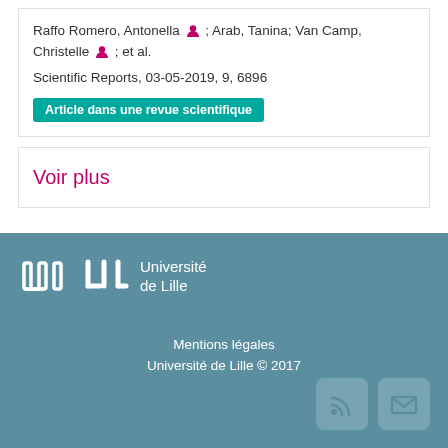Raffo Romero, Antonella [person icon] ; Arab, Tanina; Van Camp, Christelle [person icon] ; et al.
Scientific Reports, 03-05-2019, 9, 6896
Article dans une revue scientifique
Voir plus
[Figure (logo): Université de Lille logo with stylized 'lll' icon and text 'Université de Lille']
Mentions légales
Université de Lille © 2017